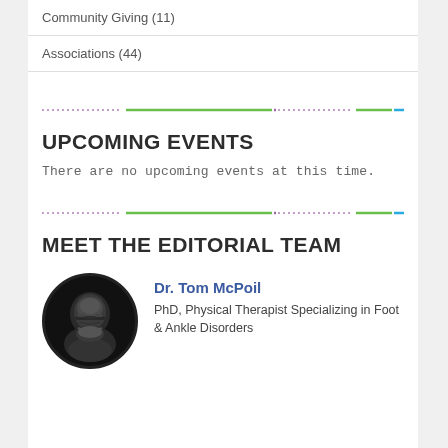Community Giving (11)
Associations (44)
UPCOMING EVENTS
There are no upcoming events at this time.
MEET THE EDITORIAL TEAM
[Figure (photo): Black and white circular portrait photo of Dr. Tom McPoil, an older man with glasses and short hair, smiling]
Dr. Tom McPoil
PhD, Physical Therapist Specializing in Foot & Ankle Disorders